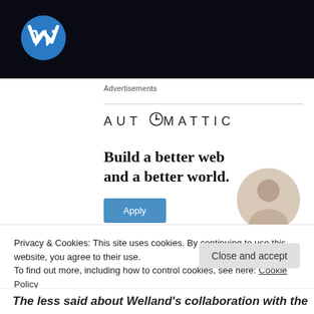[Figure (logo): Top dark banner with Warner Music (W) blue circle logo on dark background]
Advertisements
[Figure (logo): AUTOMATTIC logo in spaced uppercase letters with a clock/compass O icon]
Build a better web and a better world.
[Figure (photo): Blue Apply button with circular photo of a man thinking]
Privacy & Cookies: This site uses cookies. By continuing to use this website, you agree to their use.
To find out more, including how to control cookies, see here: Cookie Policy
Close and accept
The less said about Welland's collaboration with the